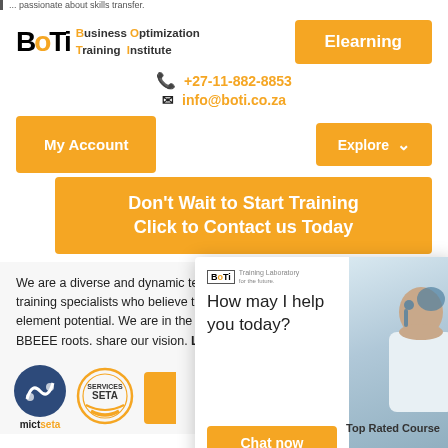[Figure (logo): BOTI Business Optimization Training Institute logo with orange accents]
[Figure (screenshot): Orange Elearning button]
+27-11-882-8853
info@boti.co.za
[Figure (screenshot): Orange My Account button]
[Figure (screenshot): Orange Explore dropdown button]
[Figure (screenshot): Orange CTA button: Don't Wait to Start Training Click to Contact us Today]
We are a diverse and dynamic team of passionate training specialists who believe that... are transformative element... potential. We are in the con... our authentic BBEEE roots. share our vision. Learn Mo...
[Figure (screenshot): Chat popup with BOTI logo, 'How may I help you today?' text, Chat now button, and agent photo]
[Figure (logo): mictseta logo circle]
[Figure (logo): Services SETA logo]
Top Rated Course